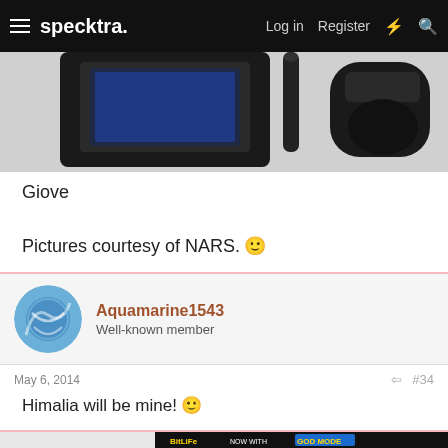specktra. Log in  Register
[Figure (photo): Product image showing dark/black makeup or cosmetic items against a light background — partial view cropped at top]
Giove
Pictures courtesy of NARS. 🙂
Aquamarine1543
Well-known member
May 6, 2014
#34
Himalia will be mine! 🙂
[Figure (screenshot): BitLife advertisement banner: NOW WITH GOD MODE]